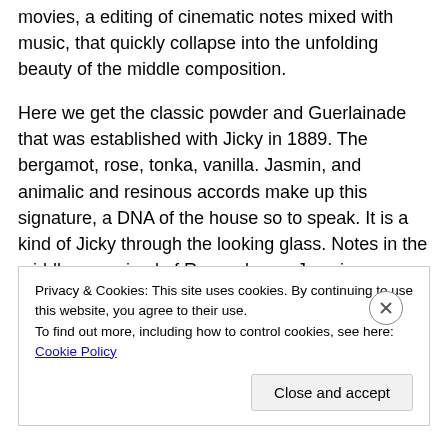movies, a editing of cinematic notes mixed with music, that quickly collapse into the unfolding beauty of the middle composition.
Here we get the classic powder and Guerlainade that was established with Jicky in 1889. The bergamot, rose, tonka, vanilla. Jasmin, and animalic and resinous accords make up this signature, a DNA of the house so to speak. It is a kind of Jicky through the looking glass. Notes in the middle comprised of Rose, cloves, Jasmine, tuberose and Geranium hit my nose with the most power. Undertones of
Privacy & Cookies: This site uses cookies. By continuing to use this website, you agree to their use.
To find out more, including how to control cookies, see here: Cookie Policy
Close and accept